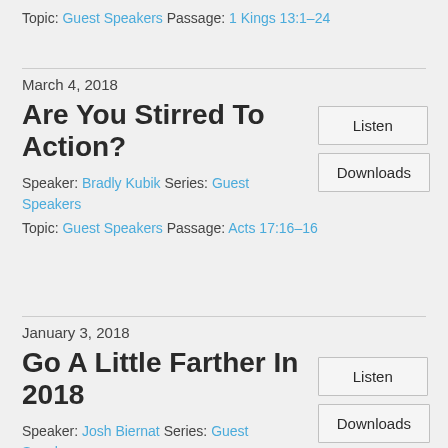Topic: Guest Speakers Passage: 1 Kings 13:1–24
March 4, 2018
Are You Stirred To Action?
Speaker: Bradly Kubik Series: Guest Speakers
Topic: Guest Speakers Passage: Acts 17:16–16
Listen
Downloads
January 3, 2018
Go A Little Farther In 2018
Speaker: Josh Biernat Series: Guest Speakers
Listen
Downloads